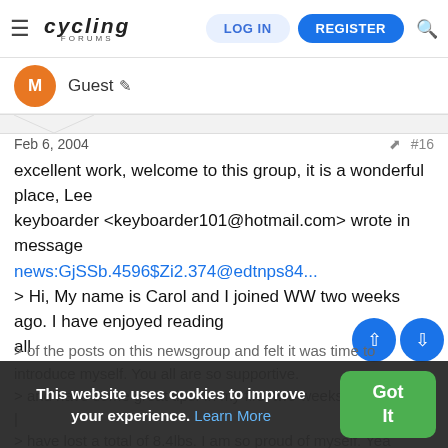Cycling Forums — LOG IN | REGISTER
Guest
Feb 6, 2004  #16
excellent work, welcome to this group, it is a wonderful place, Lee
keyboarder <keyboarder101@hotmail.com> wrote in message
news:GjSSb.4596$Zi2.374@edtnps84...
> Hi, My name is Carol and I joined WW two weeks ago. I have enjoyed reading
all
> of the posts on this newsgroup and felt it was time to introduce myself. You all are so supportive
> and have some great tips. In my first two weeks
|
> have lost a total of 8.4lbs. I am so proud of myself. Yea
This website uses cookies to improve your experience. Learn More